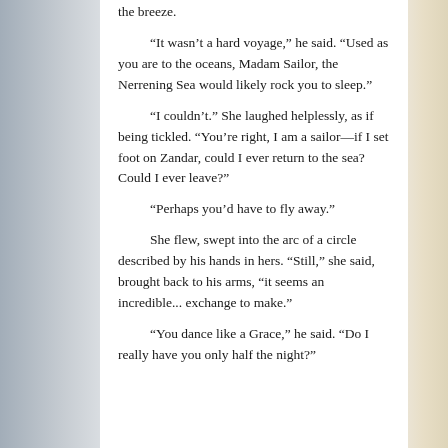the breeze.
“It wasn’t a hard voyage,” he said. “Used as you are to the oceans, Madam Sailor, the Nerrening Sea would likely rock you to sleep.”
“I couldn’t.” She laughed helplessly, as if being tickled. “You’re right, I am a sailor—if I set foot on Zandar, could I ever return to the sea? Could I ever leave?”
“Perhaps you’d have to fly away.”
She flew, swept into the arc of a circle described by his hands in hers. “Still,” she said, brought back to his arms, “it seems an incredible... exchange to make.”
“You dance like a Grace,” he said. “Do I really have you only half the night?”